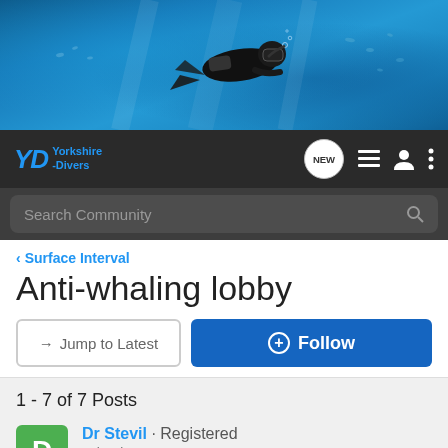[Figure (photo): Banner image of a scuba diver underwater in blue ocean water with fish in the background]
[Figure (logo): Yorkshire Divers logo - YD in blue with text 'Yorkshire -Divers']
Search Community
< Surface Interval
Anti-whaling lobby
→ Jump to Latest
+ Follow
1 - 7 of 7 Posts
Dr Stevil · Registered
Joined Aug 27, 2002 · 3,914 Posts